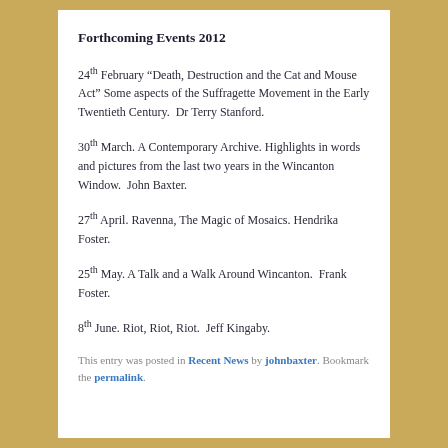Forthcoming Events 2012
24th February  “Death, Destruction and the Cat and Mouse Act” Some aspects of the Suffragette Movement in the Early Twentieth Century.  Dr Terry Stanford.
30th March. A Contemporary Archive. Highlights in words and pictures from the last two years in the Wincanton Window.  John Baxter.
27th April. Ravenna, The Magic of Mosaics. Hendrika Foster.
25th May. A Talk and a Walk Around Wincanton.  Frank Foster.
8th June. Riot, Riot, Riot.  Jeff Kingaby.
This entry was posted in Recent News by johnbaxter. Bookmark the permalink.